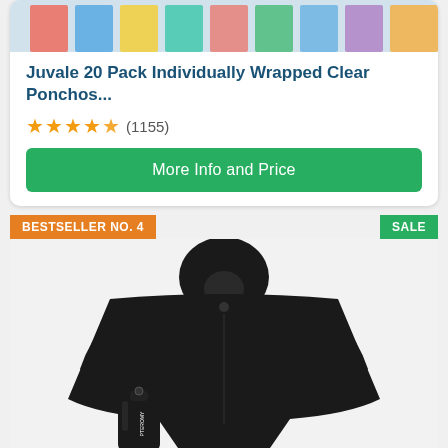[Figure (photo): Top portion of colorful clear ponchos in various colors including red, blue, green, yellow]
Juvale 20 Pack Individually Wrapped Clear Ponchos...
★★★★½ (1155)
More Info and Price
BESTSELLER NO. 4
SALE
[Figure (photo): Black hooded rain poncho displayed on a figure, with a small stuff sack labeled PTEROMY in the lower left corner]